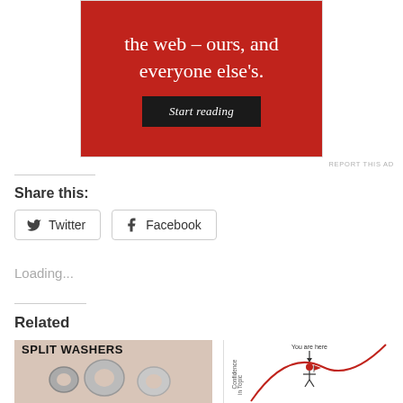[Figure (other): Red advertisement banner with white text reading 'the web – ours, and everyone else's.' and a black 'Start reading' button]
REPORT THIS AD
Share this:
Twitter  Facebook
Loading...
Related
[Figure (photo): Image showing split washers/lock washers with text 'SPLIT WASHERS' in bold black letters]
[Figure (illustration): Chart or diagram with 'You are here' label pointing down with an arrow, showing 'Confidence in Topic' on the y-axis and a red curve]